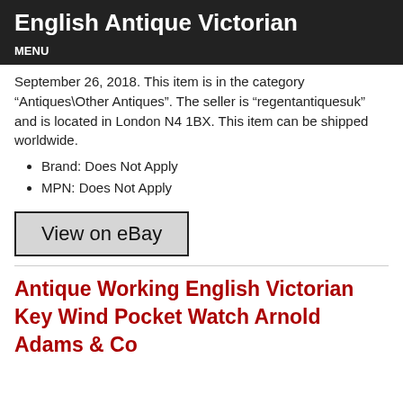English Antique Victorian
MENU
September 26, 2018. This item is in the category “Antiques\Other Antiques”. The seller is “regentantiquesuk” and is located in London N4 1BX. This item can be shipped worldwide.
Brand: Does Not Apply
MPN: Does Not Apply
[Figure (other): View on eBay button]
Antique Working English Victorian Key Wind Pocket Watch Arnold Adams & Co